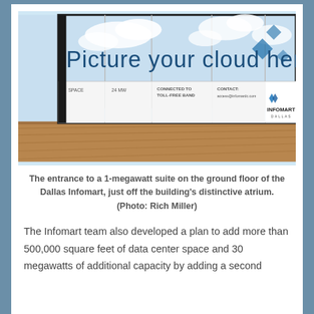[Figure (photo): Interior hallway photo showing a wall with large printed panels reading 'Picture your cloud here' with clouds in the background and the Infomart Dallas logo. The floor is hardwood. The panels also show contact information and 'CONTACT: access@infomardc.com'.]
The entrance to a 1-megawatt suite on the ground floor of the Dallas Infomart, just off the building's distinctive atrium. (Photo: Rich Miller)
The Infomart team also developed a plan to add more than 500,000 square feet of data center space and 30 megawatts of additional capacity by adding a second